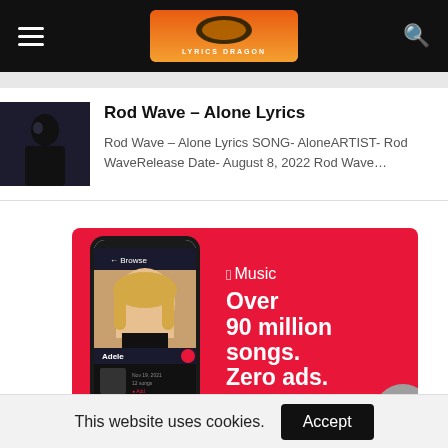Lyrics Dragon navigation bar with hamburger menu and search icon
Rod Wave – Alone Lyrics
Rod Wave – Alone Lyrics SONG- AloneARTIST- Rod WaveRelease Date- August 8, 2022 Rod Wave…
[Figure (screenshot): Apple Music advertisement: red background with iPhone showing Adele profile, text reads 'Apple Music Over 90 million songs. Zero ads.']
This website uses cookies.
Accept